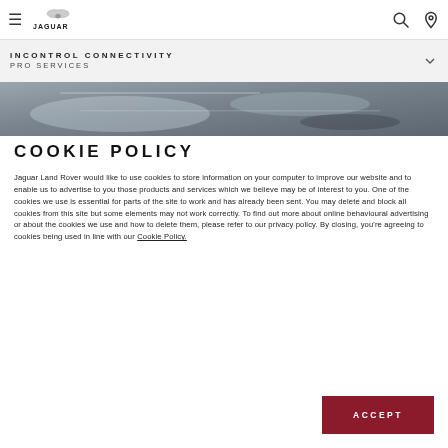Jaguar navigation bar with hamburger menu, Jaguar logo, search icon, and location icon
INCONTROL CONNECTIVITY PRO SERVICES
[Figure (photo): Car interior dashboard strip image in grey tones]
COOKIE POLICY
Jaguar Land Rover would like to use cookies to store information on your computer to improve our website and to enable us to advertise to you those products and services which we believe may be of interest to you. One of the cookies we use is essential for parts of the site to work and has already been sent. You may delete and block all cookies from this site but some elements may not work correctly. To find out more about online behavioural advertising or about the cookies we use and how to delete them, please refer to our privacy policy. By closing, you're agreeing to cookies being used in line with our Cookie Policy.
ACCEPT